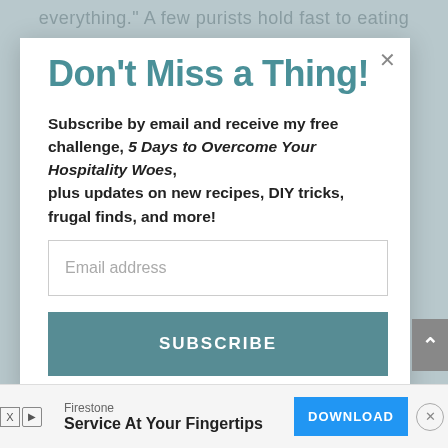everything." A few purists hold fast to eating
Don't Miss a Thing!
Subscribe by email and receive my free challenge, 5 Days to Overcome Your Hospitality Woes, plus updates on new recipes, DIY tricks, frugal finds, and more!
Email address
SUBSCRIBE
Firestone
Service At Your Fingertips
DOWNLOAD